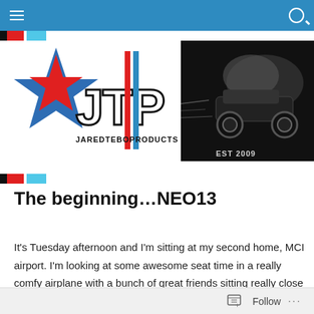Navigation bar with hamburger menu and search icon
[Figure (logo): JTP JaredTeboProducts logo with star motif and race car banner, EST 2009]
The beginning…NEO13
It's Tuesday afternoon and I'm sitting at my second home, MCI airport. I'm looking at some awesome seat time in a really comfy airplane with a bunch of great friends sitting really close to me. Slight sarcasm there. I am headed to England. I'm really looking forward to this race. This is my